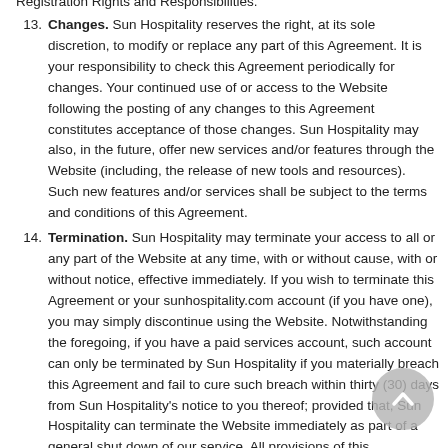Registration Rights and Responsibilities.
Changes. Sun Hospitality reserves the right, at its sole discretion, to modify or replace any part of this Agreement. It is your responsibility to check this Agreement periodically for changes. Your continued use of or access to the Website following the posting of any changes to this Agreement constitutes acceptance of those changes. Sun Hospitality may also, in the future, offer new services and/or features through the Website (including, the release of new tools and resources). Such new features and/or services shall be subject to the terms and conditions of this Agreement.
Termination. Sun Hospitality may terminate your access to all or any part of the Website at any time, with or without cause, with or without notice, effective immediately. If you wish to terminate this Agreement or your sunhospitality.com account (if you have one), you may simply discontinue using the Website. Notwithstanding the foregoing, if you have a paid services account, such account can only be terminated by Sun Hospitality if you materially breach this Agreement and fail to cure such breach within thirty (30) days from Sun Hospitality's notice to you thereof; provided that, Sun Hospitality can terminate the Website immediately as part of a general shut down of our service. All provisions of this